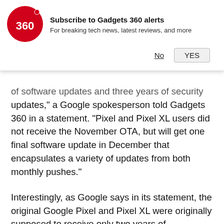[Figure (logo): Gadgets 360 red circular logo with '360' text in white]
Subscribe to Gadgets 360 alerts
For breaking tech news, latest reviews, and more
No   YES
of software updates and three years of security updates,” a Google spokesperson told Gadgets 360 in a statement. “Pixel and Pixel XL users did not receive the November OTA, but will get one final software update in December that encapsulates a variety of updates from both monthly pushes.”
Interestingly, as Google says in its statement, the original Google Pixel and Pixel XL were originally supposed to receive only two years of guaranteed Android version updates but the company surprised Pixel and Pixel XL owners by rolling out Android 10 update earlier this year. Google has already promised to